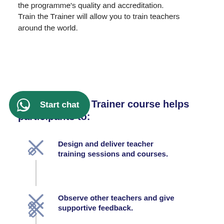the programme's quality and accreditation. Train the Trainer will allow you to train teachers around the world.
[Figure (other): WhatsApp Start chat button with green background and WhatsApp icon]
Train the Trainer course helps participants to:
Design and deliver teacher training sessions and courses.
Observe other teachers and give supportive feedback.